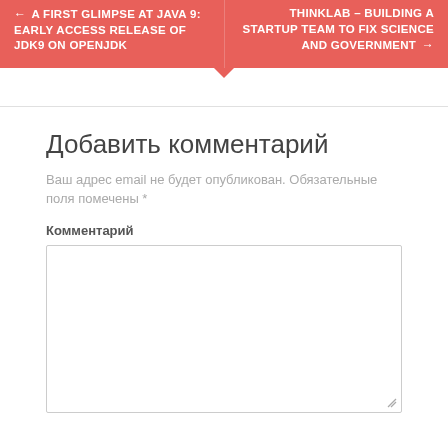← A FIRST GLIMPSE AT JAVA 9: EARLY ACCESS RELEASE OF JDK9 ON OPENJDK
THINKLAB – BUILDING A STARTUP TEAM TO FIX SCIENCE AND GOVERNMENT →
Добавить комментарий
Ваш адрес email не будет опубликован. Обязательные поля помечены *
Комментарий